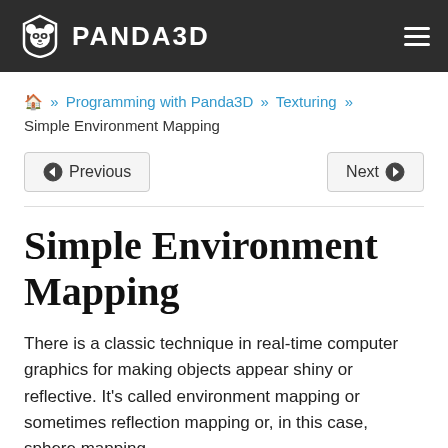PANDA3D
» Programming with Panda3D » Texturing » Simple Environment Mapping
Previous | Next
Simple Environment Mapping
There is a classic technique in real-time computer graphics for making objects appear shiny or reflective. It's called environment mapping or sometimes reflection mapping or, in this case, sphere mapping.